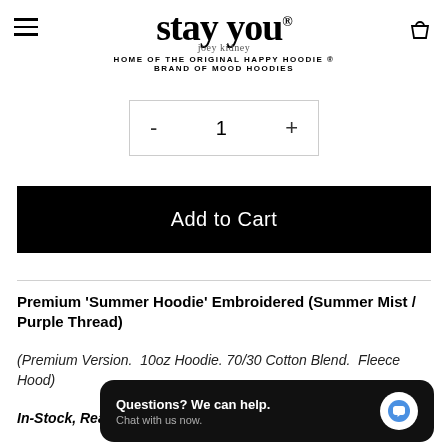stay you joey kidney HOME OF THE ORIGINAL HAPPY HOODIE ® BRAND OF MOOD HOODIES
[Figure (screenshot): Quantity selector with minus, 1, plus inside a bordered box]
Add to Cart
Premium 'Summer Hoodie' Embroidered (Summer Mist / Purple Thread)
(Premium Version.  10oz Hoodie. 70/30 Cotton Blend.  Fleece Hood)
In-Stock, Ready
[Figure (screenshot): Chat popup: 'Questions? We can help. Chat with us now.' with blue speech bubble icon on black background]